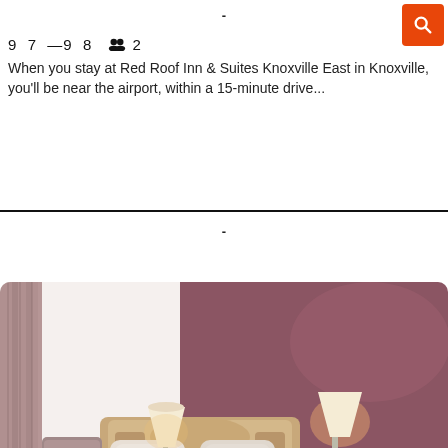-
9  7  —9  8     2
When you stay at Red Roof Inn & Suites Knoxville East in Knoxville, you'll be near the airport, within a 15-minute drive...
-
[Figure (photo): Hotel room interior with mauve/dark rose accent wall, wooden headboard with pillows, two bedside lamps lit, curtains on left side]